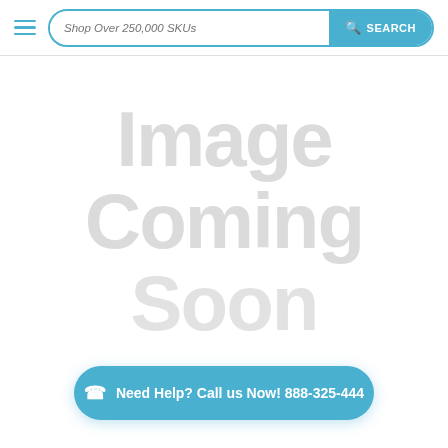Shop Over 250,000 SKUs | SEARCH
[Figure (illustration): Image Coming Soon placeholder graphic with large light grey text reading 'Image Coming Soon']
Need Help? Call us Now! 888-325-444